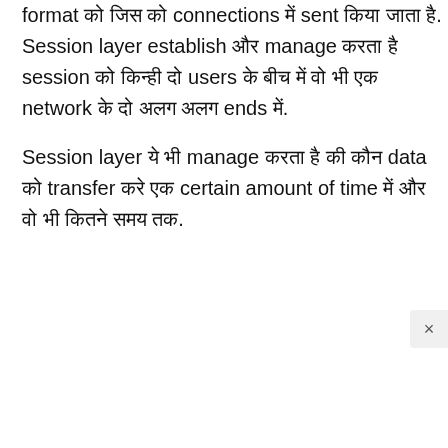format को जिस को connections में sent किया जाता है. Session layer establish और manage करता है session को किन्ही दो users के बीच में वो भी एक network के दो अलग अलग ends में.
Session layer ये भी manage करता है की कौन data को transfer करे एक certain amount of time में और वो भी कितने समय तक.